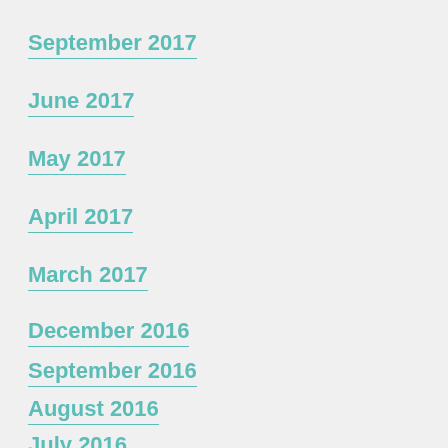September 2017
June 2017
May 2017
April 2017
March 2017
December 2016
September 2016
August 2016
July 2016